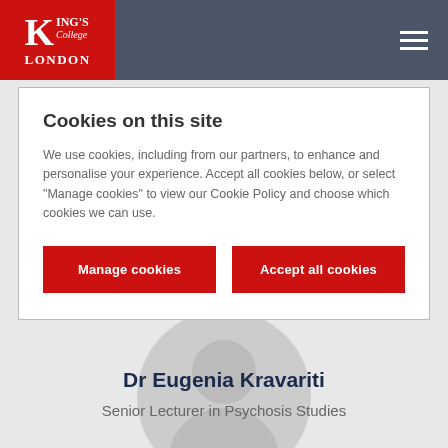King's College London
Cookies on this site
We use cookies, including from our partners, to enhance and personalise your experience. Accept all cookies below, or select "Manage cookies" to view our Cookie Policy and choose which cookies we can use.
Manage cookies
Accept all cookies
[Figure (illustration): Circular placeholder avatar showing a generic person silhouette in light grey]
Dr Eugenia Kravariti
Senior Lecturer in Psychosis Studies